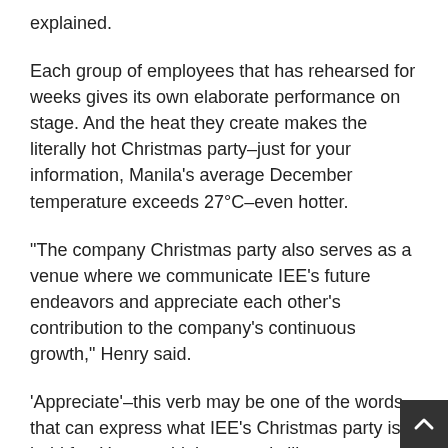explained.
Each group of employees that has rehearsed for weeks gives its own elaborate performance on stage. And the heat they create makes the literally hot Christmas party–just for your information, Manila's average December temperature exceeds 27°C–even hotter.
"The company Christmas party also serves as a venue where we communicate IEE's future endeavors and appreciate each other's contribution to the company's continuous growth," Henry said.
'Appreciate'–this verb may be one of the words that can express what IEE's Christmas party is held for. Henry said the event is like a Thanksgiving celebration in a country where Thanksgiving is not a national holiday.
"Even people taking part in the sayawit contest express gratitude through singing and dancing," he added.